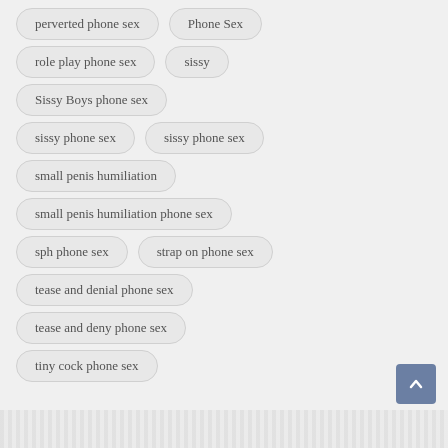perverted phone sex
Phone Sex
role play phone sex
sissy
Sissy Boys phone sex
sissy phone sex
sissy phone sex
small penis humiliation
small penis humiliation phone sex
sph phone sex
strap on phone sex
tease and denial phone sex
tease and deny phone sex
tiny cock phone sex